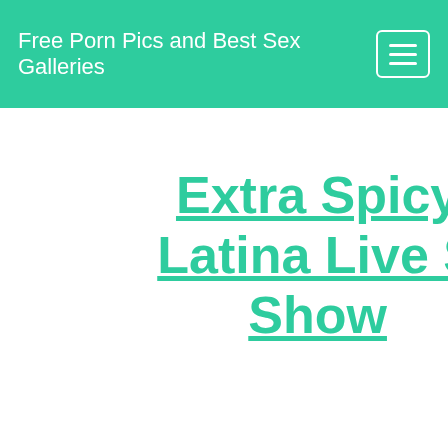Free Porn Pics and Best Sex Galleries
Extra Spicy Latina Live S Show